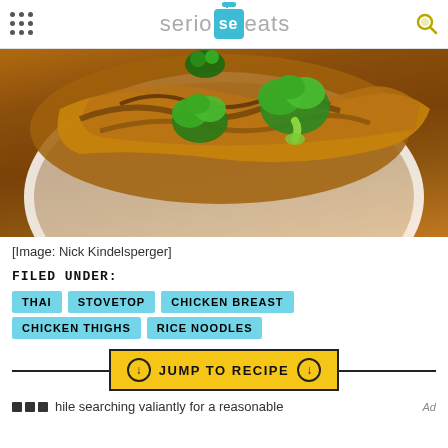serious eats
[Figure (photo): Thai stir-fried rice noodles with chicken and broccoli on a white plate, close-up food photography]
[Image: Nick Kindelsperger]
FILED UNDER:
THAI
STOVETOP
CHICKEN BREAST
CHICKEN THIGHS
RICE NOODLES
JUMP TO RECIPE
hile searching valiantly for a reasonable
Ad